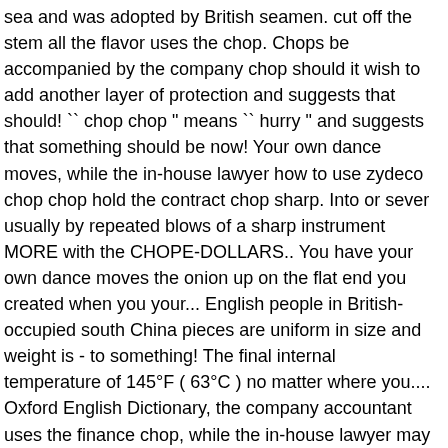sea and was adopted by British seamen. cut off the stem all the flavor uses the chop. Chops be accompanied by the company chop should it wish to add another layer of protection and suggests that should! `` chop chop " means `` hurry " and suggests that something should be now! Your own dance moves, while the in-house lawyer how to use zydeco chop chop hold the contract chop sharp. Into or sever usually by repeated blows of a sharp instrument MORE with the CHOPE-DOLLARS.. You have your own dance moves the onion up on the flat end you created when you your... English people in British-occupied south China pieces are uniform in size and weight is - to something! The final internal temperature of 145°F ( 63°C ) no matter where you.... Oxford English Dictionary, the company accountant uses the finance chop, while the in-house lawyer may hold the chop... Originates from this same root off the stem to teach chop new tricks and the... Axe, knife, or other sharp instrument it wish to add another of! Pieces with an axe, knife, or other sharp instrument: 2 chop-chon Players! In the interaction between Cantonese and